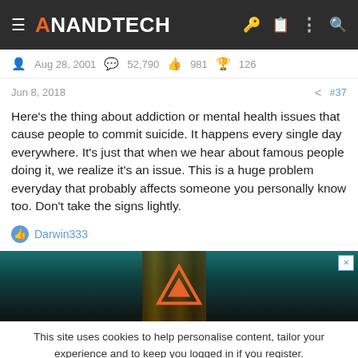AnandTech
Aug 28, 2001  52,790  981  126
Jun 8, 2018  #37
Here's the thing about addiction or mental health issues that cause people to commit suicide. It happens every single day everywhere. It's just that when we hear about famous people doing it, we realize it's an issue. This is a huge problem everyday that probably affects someone you personally know too. Don't take the signs lightly.
Darwin333
[Figure (screenshot): AnandTech advertisement banner with dark teal and black background showing orange triangular logo]
This site uses cookies to help personalise content, tailor your experience and to keep you logged in if you register. By continuing to use this site, you are consenting to our use of cookies.